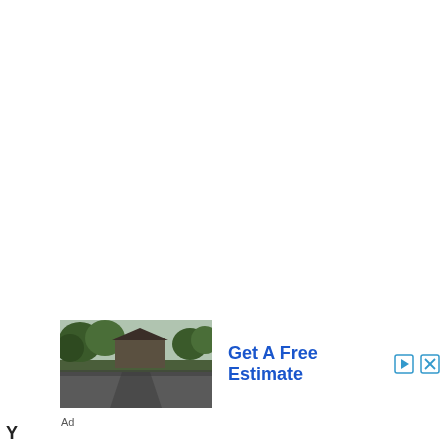[Figure (photo): Advertisement banner showing a house with a driveway surrounded by trees, with text 'Get A Free Estimate' in blue with play and close icons.]
Ad